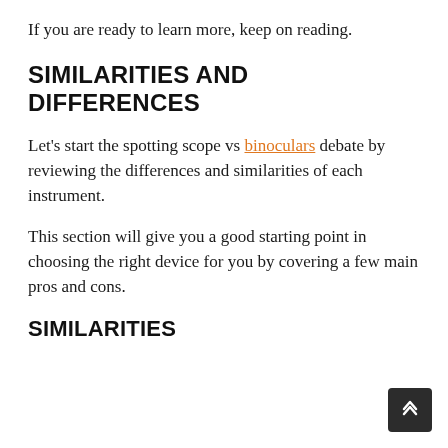If you are ready to learn more, keep on reading.
SIMILARITIES AND DIFFERENCES
Let's start the spotting scope vs binoculars debate by reviewing the differences and similarities of each instrument.
This section will give you a good starting point in choosing the right device for you by covering a few main pros and cons.
SIMILARITIES